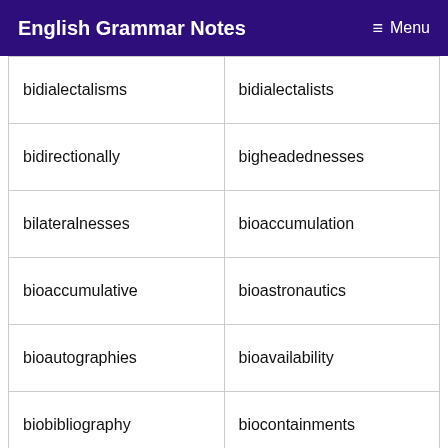English Grammar Notes — Menu
| bidialectalisms | bidialectalists |
| bidirectionally | bigheadednesses |
| bilateralnesses | bioaccumulation |
| bioaccumulative | bioastronautics |
| bioautographies | bioavailability |
| biobibliography | biocontainments |
| biodegradations | bioecologically |
| bioequivalences | biogasification |
| biogeographical | biomathematical |
|  |  |